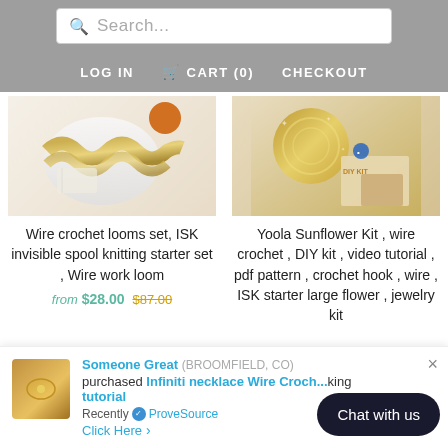Search... LOG IN CART (0) CHECKOUT
[Figure (photo): Product image: wire crochet looms set with gold mesh ribbon and orange accessory]
Wire crochet looms set, ISK invisible spool knitting starter set , Wire work loom
from $28.00 $87.00
[Figure (photo): Product image: Yoola Sunflower Kit with gold wire crochet materials and DIY kit label]
Yoola Sunflower Kit , wire crochet , DIY kit , video tutorial , pdf pattern , crochet hook , wire , ISK starter large flower , jewelry kit
Someone Great (BROOMFIELD, CO) purchased Infiniti necklace Wire Croch... king tutorial
Recently ✓ ProveSource
Click Here >
Chat with us